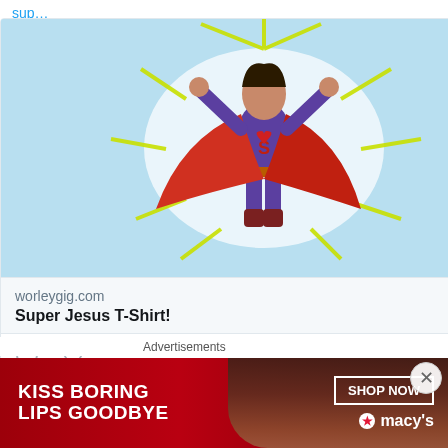sup…
[Figure (illustration): Superhero woman in purple costume with red cape flying upward against light blue background with yellow starburst rays]
worleygig.com
Super Jesus T-Shirt!
[Figure (illustration): Comment bubble icon and heart/like icon]
View more on Twitter
Learn more about privacy on Twitter
Advertisements
[Figure (photo): Macy's advertisement: KISS BORING LIPS GOODBYE with SHOP NOW button and Macy's star logo, dark red background with woman's face]